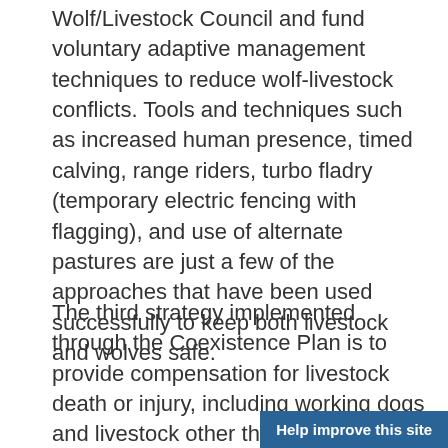Wolf/Livestock Council and fund voluntary adaptive management techniques to reduce wolf-livestock conflicts. Tools and techniques such as increased human presence, timed calving, range riders, turbo fladry (temporary electric fencing with flagging), and use of alternate pastures are just a few of the approaches that have been used successfully to keep both livestock and wolves safe.
The third strategy implemented through the Coexistence Plan is to provide compensation for livestock death or injury, including working dogs and livestock other than sheep and cattle. The Council has been providing compensation for confirmed or probable livestock depredations by Mexican wolves since September 2010. This is done in partnership with USDA’s Wildlife Services, which investigates and confirms wolf kills before a rancher ca